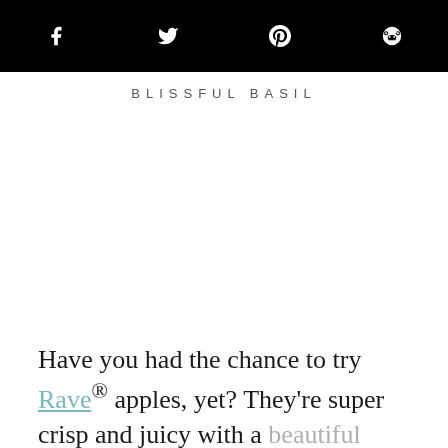BLISSFUL BASIL
Have you had the chance to try Rave® apples, yet? They're super crisp and juicy with a beautiful balance of sweet and tart. If I had to